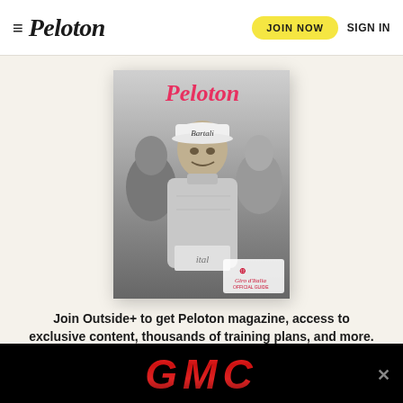≡ Peloton  JOIN NOW  SIGN IN
[Figure (illustration): Peloton magazine cover featuring a black-and-white photograph of cyclist Gino Bartali wearing a Bartali cap, with other cyclists behind him. The cover shows the Peloton masthead in pink script at the top and the Giro d'Italia Official Guide logo at the bottom right.]
Join Outside+ to get Peloton magazine, access to exclusive content, thousands of training plans, and more.
[Figure (logo): GMC advertisement banner with red GMC logo text on black background with a close button.]